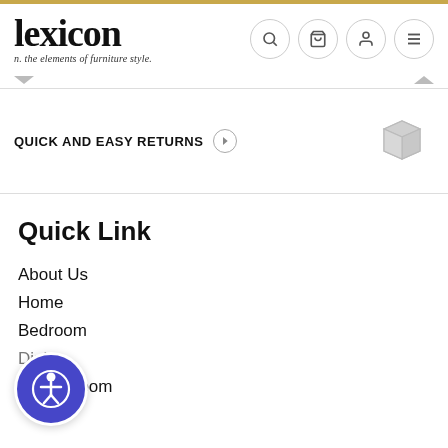lexicon — n. the elements of furniture style.
QUICK AND EASY RETURNS
Quick Link
About Us
Home
Bedroom
Living Room